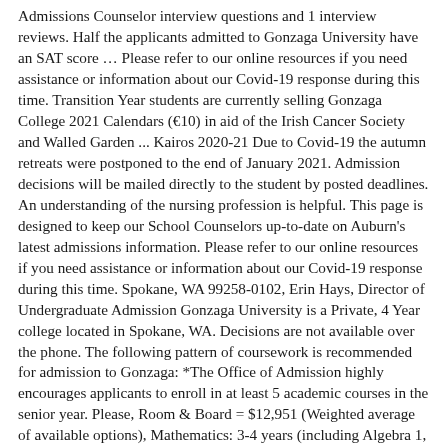Admissions Counselor interview questions and 1 interview reviews. Half the applicants admitted to Gonzaga University have an SAT score … Please refer to our online resources if you need assistance or information about our Covid-19 response during this time. Transition Year students are currently selling Gonzaga College 2021 Calendars (€10) in aid of the Irish Cancer Society and Walled Garden ... Kairos 2020-21 Due to Covid-19 the autumn retreats were postponed to the end of January 2021. Admission decisions will be mailed directly to the student by posted deadlines. An understanding of the nursing profession is helpful. This page is designed to keep our School Counselors up-to-date on Auburn's latest admissions information. Please refer to our online resources if you need assistance or information about our Covid-19 response during this time. Spokane, WA 99258-0102, Erin Hays, Director of Undergraduate Admission Gonzaga University is a Private, 4 Year college located in Spokane, WA. Decisions are not available over the phone. The following pattern of coursework is recommended for admission to Gonzaga: *The Office of Admission highly encourages applicants to enroll in at least 5 academic courses in the senior year. Please, Room & Board = $12,951 (Weighted average of available options), Mathematics: 3-4 years (including Algebra 1, Geometry, Algebra II/Trigonometry), Science: 3-4 years (Natural/Physical Science with Laboratories), Foreign Language: 2-3 years (same language; ASL accepted), ACT: Mid-50% range 26-31 (writing test not required, & we are